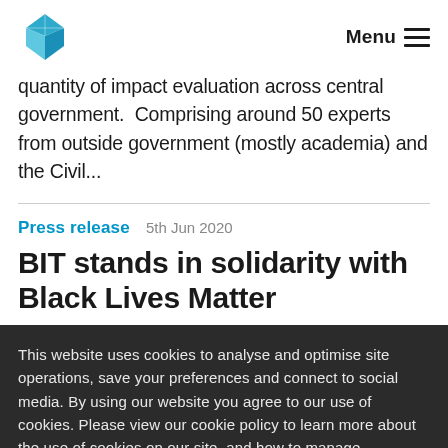Menu
quantity of impact evaluation across central government. Comprising around 50 experts from outside government (mostly academia) and the Civil...
Press release   5th Jun 2020
BIT stands in solidarity with Black Lives Matter
This website uses cookies to analyse and optimise site operations, save your preferences and connect to social media. By using our website you agree to our use of cookies. Please view our cookie policy to learn more about the use of cookies on our site, and how to manage